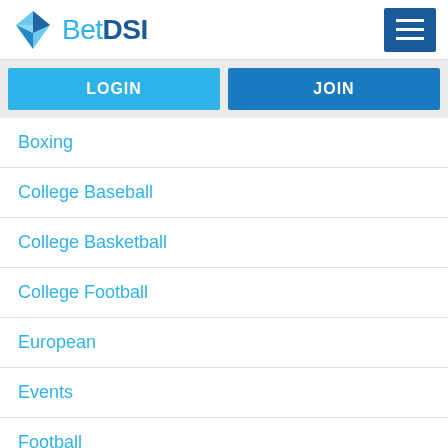[Figure (logo): BetDSI logo with blue diamond icon and text]
LOGIN
JOIN
Boxing
College Baseball
College Basketball
College Football
European
Events
Football
Formula 1
Golf